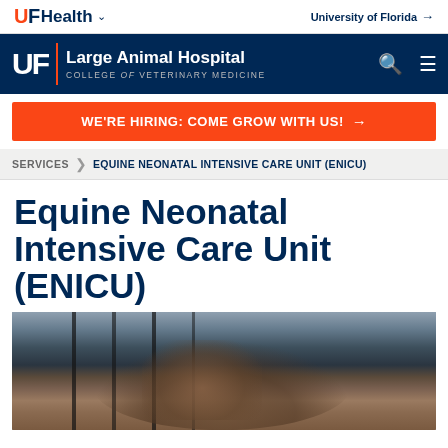UF Health | University of Florida
UF | Large Animal Hospital COLLEGE of VETERINARY MEDICINE
WE'RE HIRING: COME GROW WITH US! →
SERVICES > EQUINE NEONATAL INTENSIVE CARE UNIT (ENICU)
Equine Neonatal Intensive Care Unit (ENICU)
[Figure (photo): Photo of a person with a foal (young horse) in what appears to be a stable or stall with metal bars in the background]